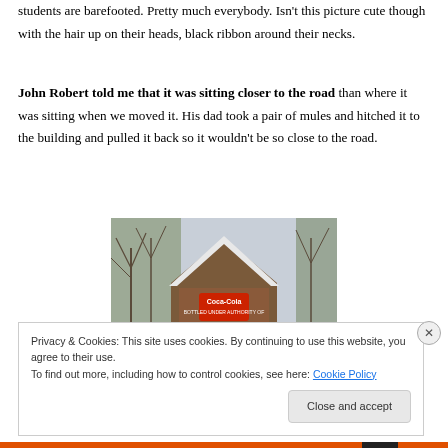students are barefooted. Pretty much everybody. Isn't this picture cute though with the hair up on their heads, black ribbon around their necks.
John Robert told me that it was sitting closer to the road than where it was sitting when we moved it. His dad took a pair of mules and hitched it to the building and pulled it back so it wouldn't be so close to the road.
[Figure (photo): Photo of a building with a dark metal roof covered in snow, a Coca-Cola sign visible on the front, surrounded by bare trees.]
Privacy & Cookies: This site uses cookies. By continuing to use this website, you agree to their use.
To find out more, including how to control cookies, see here: Cookie Policy